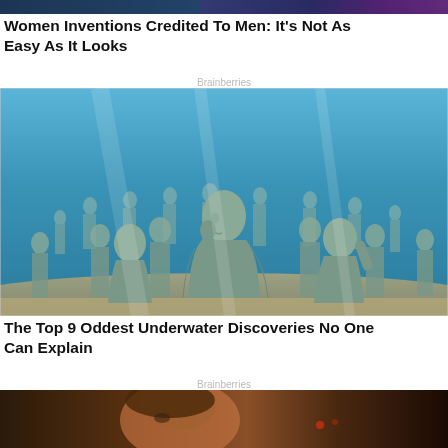[Figure (photo): Partial top image cropped at top of page, showing colorful digital/tech themed photo]
Women Inventions Credited To Men: It's Not As Easy As It Looks
Brainberries
[Figure (photo): Underwater photograph of numerous stone/concrete human statues submerged on the ocean floor, with blue water and sandy bottom visible]
The Top 9 Oddest Underwater Discoveries No One Can Explain
Brainberries
[Figure (photo): Partial bottom image cropped, showing a person's face with warm tones, partially visible]